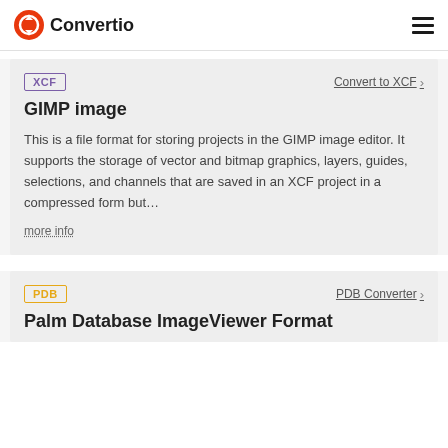Convertio
XCF
Convert to XCF
GIMP image
This is a file format for storing projects in the GIMP image editor. It supports the storage of vector and bitmap graphics, layers, guides, selections, and channels that are saved in an XCF project in a compressed form but…
more info
PDB
PDB Converter
Palm Database ImageViewer Format